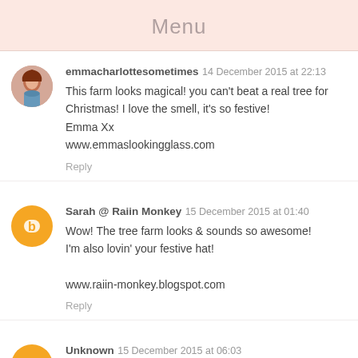Menu
emmacharlottesometimes 14 December 2015 at 22:13
This farm looks magical! you can't beat a real tree for Christmas! I love the smell, it's so festive!
Emma Xx
www.emmaslookingglass.com
Reply
Sarah @ Raiin Monkey 15 December 2015 at 01:40
Wow! The tree farm looks & sounds so awesome! I'm also lovin' your festive hat!

www.raiin-monkey.blogspot.com
Reply
Unknown 15 December 2015 at 06:03